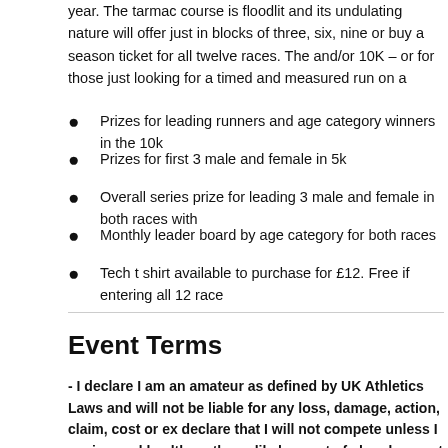year. The tarmac course is floodlit and its undulating nature will offer just in blocks of three, six, nine or buy a season ticket for all twelve races. The and/or 10K – or for those just looking for a timed and measured run on a
Prizes for leading runners and age category winners in the 10k
Prizes for first 3 male and female in 5k
Overall series prize for leading 3 male and female in both races with
Monthly leader board by age category for both races
Tech t shirt available to purchase for £12. Free if entering all 12 race
Event Terms
- I declare I am an amateur as defined by UK Athletics Laws and will not be liable for any loss, damage, action, claim, cost or ex declare that I will not compete unless I am in good health on the unlikely event of abandonment or cancellation, all or part of my event.
Further information from the Organiser
The Event Organiser will email further information prior to the event. Organiser may only send information once entries close (ie. a couple Organiser using the details displayed on the event entry page.